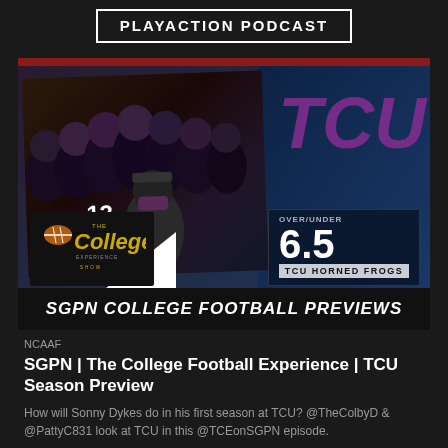PLAYACTION PODCAST
[Figure (photo): TCU Horned Frogs football team photo with coach wearing mask, players in purple helmets with numbers 13 and 19 visible. Overlaid with College Experience logo, TCU text logo, Over/Under 6.5 graphic, TCU Horned Frogs label, and SGPN College Football Previews banner.]
NCAAF
SGPN | The College Football Experience | TCU Season Preview
How will Sonny Dykes do in his first season at TCU? @TheColbyD & @PattyC831 look at TCU in this @TCEonSGPN episode.